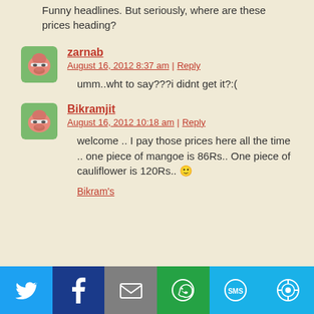Funny headlines. But seriously, where are these prices heading?
zarnab
August 16, 2012 8:37 am | Reply

umm..wht to say???i didnt get it?:(
Bikramjit
August 16, 2012 10:18 am | Reply

welcome .. I pay those prices here all the time .. one piece of mangoe is 86Rs.. One piece of cauliflower is 120Rs.. 🙂

Bikram's
[Figure (infographic): Social share bar with Twitter, Facebook, Email, WhatsApp, SMS, and More buttons]